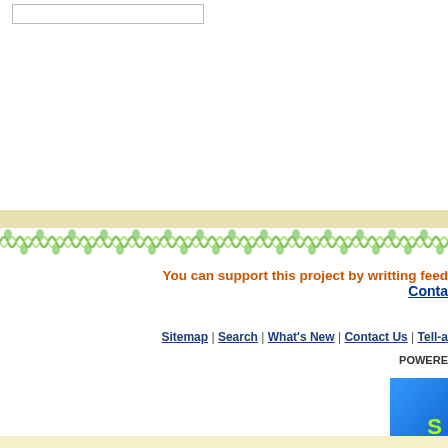[Figure (other): Search input box, white rectangle with border, partially visible at top left]
[Figure (other): Decorative beige horizontal bar]
[Figure (illustration): Green floral/vine decorative border pattern repeating horizontally]
You can support this project by writting feed... Conta...
Sitemap | Search | What's New | Contact Us | Tell-a... POWERED...
[Figure (other): Blue gradient button with yellow-green letter S]